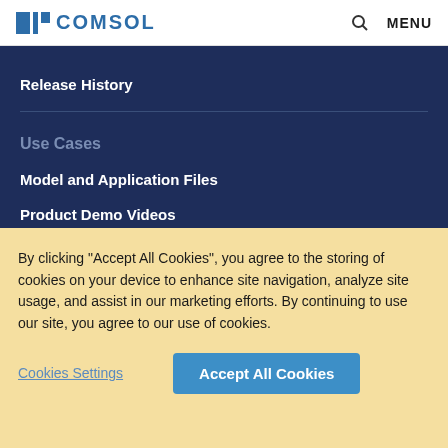COMSOL
Release History
Use Cases
Model and Application Files
Product Demo Videos
By clicking “Accept All Cookies”, you agree to the storing of cookies on your device to enhance site navigation, analyze site usage, and assist in our marketing efforts. By continuing to use our site, you agree to our use of cookies.
Cookies Settings
Accept All Cookies